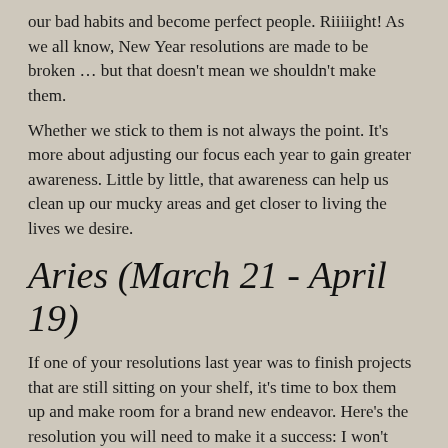our bad habits and become perfect people. Riiiiight! As we all know, New Year resolutions are made to be broken … but that doesn't mean we shouldn't make them.
Whether we stick to them is not always the point. It's more about adjusting our focus each year to gain greater awareness. Little by little, that awareness can help us clean up our mucky areas and get closer to living the lives we desire.
Aries (March 21 - April 19)
If one of your resolutions last year was to finish projects that are still sitting on your shelf, it's time to box them up and make room for a brand new endeavor. Here's the resolution you will need to make it a success: I won't start a new project until I finish the one I'm working on.